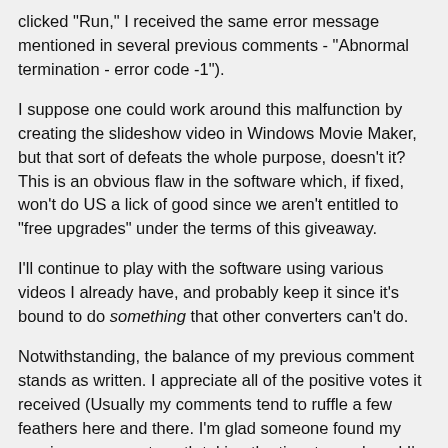clicked "Run," I received the same error message mentioned in several previous comments - "Abnormal termination - error code -1").
I suppose one could work around this malfunction by creating the slideshow video in Windows Movie Maker, but that sort of defeats the whole purpose, doesn't it? This is an obvious flaw in the software which, if fixed, won't do US a lick of good since we aren't entitled to "free upgrades" under the terms of this giveaway.
I'll continue to play with the software using various videos I already have, and probably keep it since it's bound to do something that other converters can't do.
Notwithstanding, the balance of my previous comment stands as written. I appreciate all of the positive votes it received (Usually my comments tend to ruffle a few feathers here and there. I'm glad someone found my previous comment worth taking the time to read, and I'm grateful for everyone's support and all of the people who take the time to express their opinions and